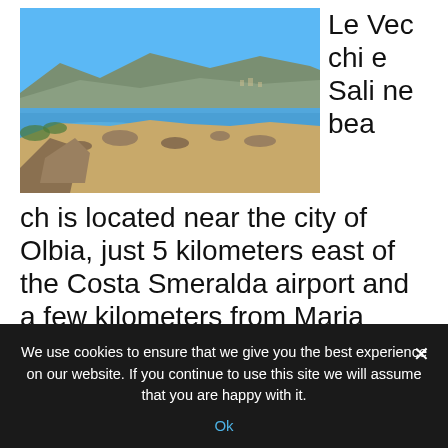[Figure (photo): Coastal scene near Olbia, Sardinia — rocky shoreline with calm blue water, sandy patches, and mountains in the background under a clear blue sky.]
Le Vecchie Saline beach is located near the city of Olbia, just 5 kilometers east of the Costa Smeralda airport and a few kilometers from Maria
We use cookies to ensure that we give you the best experience on our website. If you continue to use this site we will assume that you are happy with it.
Ok